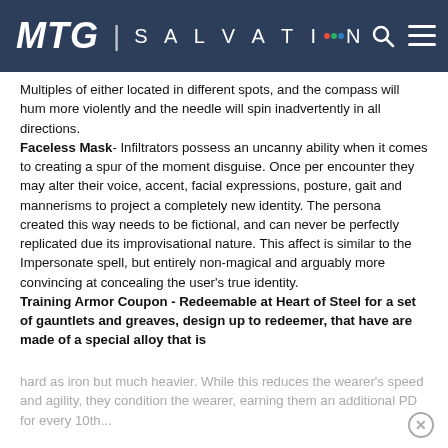MTG SALVATION
Multiples of either located in different spots, and the compass will hum more violently and the needle will spin inadvertently in all directions. Faceless Mask- Infiltrators possess an uncanny ability when it comes to creating a spur of the moment disguise. Once per encounter they may alter their voice, accent, facial expressions, posture, gait and mannerisms to project a completely new identity. The persona created this way needs to be fictional, and can never be perfectly replicated due its improvisational nature. This affect is similar to the Impersonate spell, but entirely non-magical and arguably more convincing at concealing the user's true identity. Training Armor Coupon - Redeemable at Heart of Steel for a set of gauntlets and greaves, design up to redeemer, that have are made of a special alloy that is
hard as iron but much heavier. While this reduces the wearer's speed and agility, they condition the wearer, earning them an additional PD for every 10th...